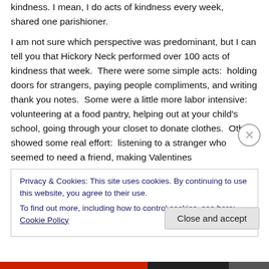kindness. I mean, I do acts of kindness every week, shared one parishioner.
I am not sure which perspective was predominant, but I can tell you that Hickory Neck performed over 100 acts of kindness that week.  There were some simple acts:  holding doors for strangers, paying people compliments, and writing thank you notes.  Some were a little more labor intensive:  volunteering at a food pantry, helping out at your child's school, going through your closet to donate clothes.  Others showed some real effort:  listening to a stranger who seemed to need a friend, making Valentines
Privacy & Cookies: This site uses cookies. By continuing to use this website, you agree to their use.
To find out more, including how to control cookies, see here: Cookie Policy